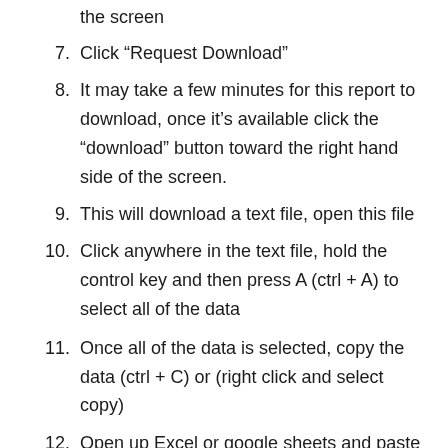the screen
7. Click “Request Download”
8. It may take a few minutes for this report to download, once it’s available click the “download” button toward the right hand side of the screen.
9. This will download a text file, open this file
10. Click anywhere in the text file, hold the control key and then press A (ctrl + A) to select all of the data
11. Once all of the data is selected, copy the data (ctrl + C) or (right click and select copy)
12. Open up Excel or google sheets and paste